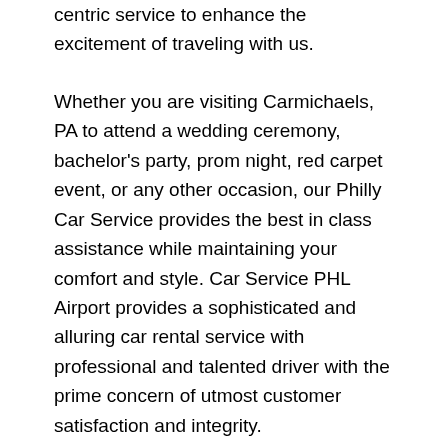centric service to enhance the excitement of traveling with us.
Whether you are visiting Carmichaels, PA to attend a wedding ceremony, bachelor's party, prom night, red carpet event, or any other occasion, our Philly Car Service provides the best in class assistance while maintaining your comfort and style. Car Service PHL Airport provides a sophisticated and alluring car rental service with professional and talented driver with the prime concern of utmost customer satisfaction and integrity.
If you have plans to visit Carmichaels, PA, we at Philadelphia Limo suggest that you must have a pre planned car booking done to save yourself from the